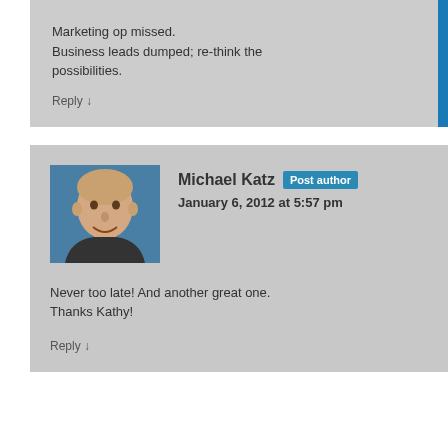Marketing op missed.
Business leads dumped; re-think the possibilities.
Reply ↓
[Figure (photo): Headshot of Michael Katz, a bald man smiling, wearing a dark shirt, against a teal/blue background.]
Michael Katz
Post author
January 6, 2012 at 5:57 pm
Never too late! And another great one. Thanks Kathy!
Reply ↓